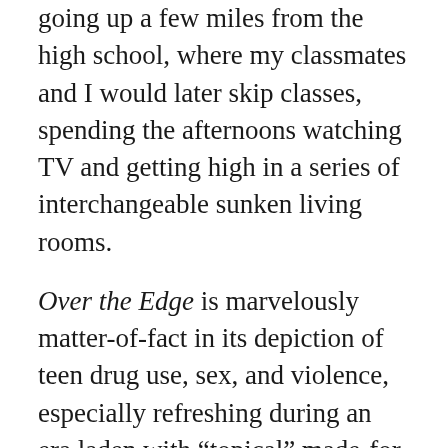going up a few miles from the high school, where my classmates and I would later skip classes, spending the afternoons watching TV and getting high in a series of interchangeable sunken living rooms.

Over the Edge is marvelously matter-of-fact in its depiction of teen drug use, sex, and violence, especially refreshing during an era laden with “topical” made-for-TV movies and after-school specials depicting kids jumping out of windows on angel dust or clawing their faces off on bad acid trips. The kids in Over the Edge were so familiar that it might have been cast from